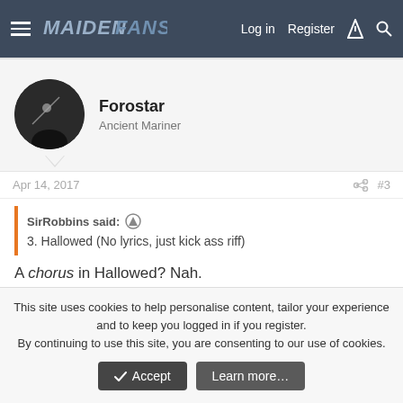MaidenFans — Log in  Register
Forostar
Ancient Mariner
Apr 14, 2017   #3
SirRobbins said: 3. Hallowed (No lyrics, just kick ass riff)
A chorus in Hallowed? Nah.
This site uses cookies to help personalise content, tailor your experience and to keep you logged in if you register. By continuing to use this site, you are consenting to our use of cookies.